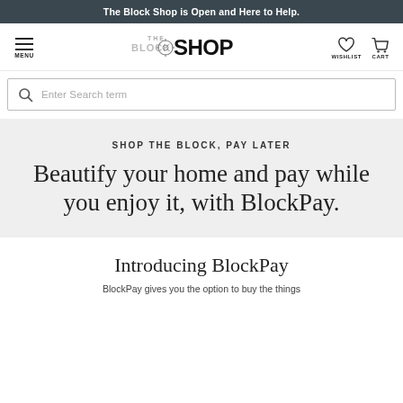The Block Shop is Open and Here to Help.
[Figure (logo): The Block Shop logo with hamburger menu, stylized THE BLOCK SHOP wordmark, wishlist heart icon and cart icon]
Enter Search term
SHOP THE BLOCK, PAY LATER
Beautify your home and pay while you enjoy it, with BlockPay.
Introducing BlockPay
BlockPay gives you the option to buy the things